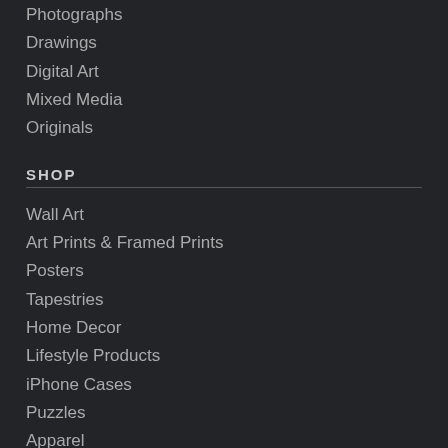Photographs
Drawings
Digital Art
Mixed Media
Originals
SHOP
Wall Art
Art Prints & Framed Prints
Posters
Tapestries
Home Decor
Lifestyle Products
iPhone Cases
Puzzles
Apparel
Gift Cards
CREATE